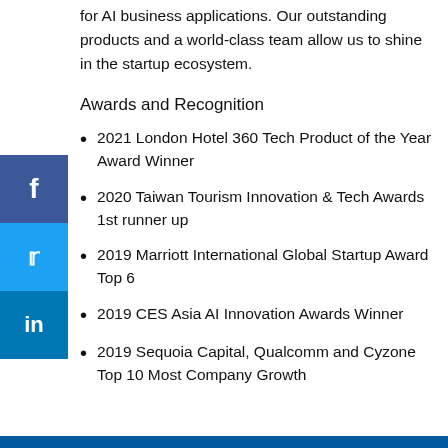for AI business applications. Our outstanding products and a world-class team allow us to shine in the startup ecosystem.
Awards and Recognition
2021 London Hotel 360 Tech Product of the Year Award Winner
2020 Taiwan Tourism Innovation & Tech Awards 1st runner up
2019 Marriott International Global Startup Award Top 6
2019 CES Asia AI Innovation Awards Winner
2019 Sequoia Capital, Qualcomm and Cyzone Top 10 Most Company Growth